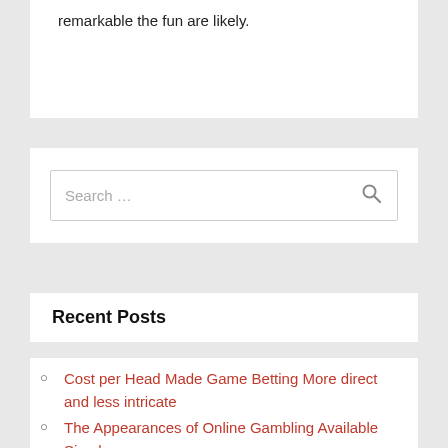remarkable the fun are likely.
[Figure (screenshot): Search input box with placeholder text 'Search ...' and a search icon on the right]
Recent Posts
Cost per Head Made Game Betting More direct and less intricate
The Appearances of Online Gambling Available Simply
Has developed To Subsidiary advertisers Of Gambling Sites
The Top Betting Rundown of Normal Games Activities